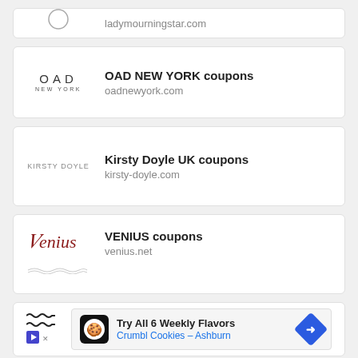[Figure (logo): Partial card at top showing a circular logo and partial URL text]
[Figure (logo): OAD NEW YORK text logo]
OAD NEW YORK coupons
oadnewyork.com
[Figure (logo): KIRSTY DOYLE text logo]
Kirsty Doyle UK coupons
kirsty-doyle.com
[Figure (logo): Venius script logo in red/maroon]
VENIUS coupons
venius.net
[Figure (infographic): Advertisement: Try All 6 Weekly Flavors - Crumbl Cookies - Ashburn]